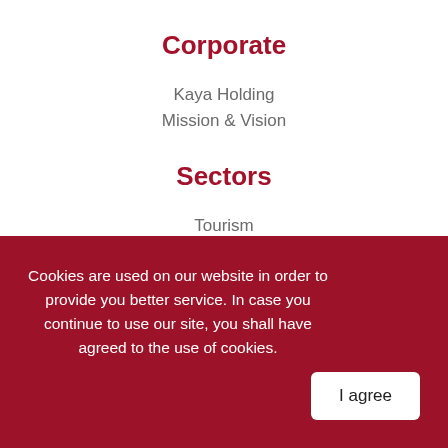Corporate
Kaya Holding
Mission & Vision
Sectors
Tourism
Construction & Real Estate
Retail
Service
Energy
Agriculture
Cookies are used on our website in order to provide you better service. In case you continue to use our site, you shall have agreed to the use of cookies.
I agree